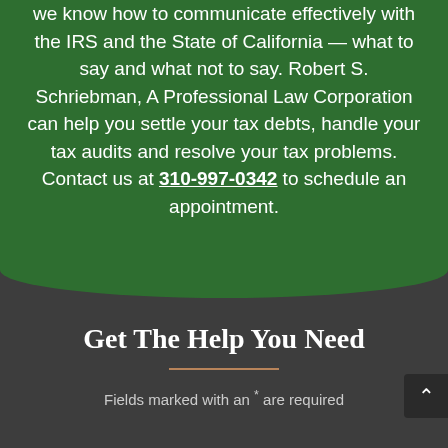we know how to communicate effectively with the IRS and the State of California — what to say and what not to say. Robert S. Schriebman, A Professional Law Corporation can help you settle your tax debts, handle your tax audits and resolve your tax problems. Contact us at 310-997-0342 to schedule an appointment.
Get The Help You Need
Fields marked with an * are required
Name